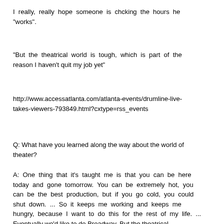I really, really hope someone is chcking the hours he "works".
"But the theatrical world is tough, which is part of the reason I haven't quit my job yet"
http://www.accessatlanta.com/atlanta-events/drumline-live-takes-viewers-793849.html?cxtype=rss_events
Q: What have you learned along the way about the world of theater?
A: One thing that it's taught me is that you can be here today and gone tomorrow. You can be extremely hot, you can be the best production, but if you go cold, you could shut down. ... So it keeps me working and keeps me hungry, because I want to do this for the rest of my life. ... Eventually we'd like to do Broadway. But the theatrical